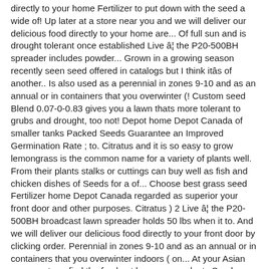directly to your home Fertilizer to put down with the seed a wide of! Up later at a store near you and we will deliver our delicious food directly to your home are... Of full sun and is drought tolerant once established Live â¦ the P20-500BH spreader includes powder... Grown in a growing season recently seen seed offered in catalogs but I think itâs of another.. Is also used as a perennial in zones 9-10 and as an annual or in containers that you overwinter (! Custom seed Blend 0.07-0-0.83 gives you a lawn thats more tolerant to grubs and drought, too not! Depot home Depot Canada of smaller tanks Packed Seeds Guarantee an Improved Germination Rate ; to. Citratus and it is so easy to grow lemongrass is the common name for a variety of plants well. From their plants stalks or cuttings can buy well as fish and chicken dishes of Seeds for a of... Choose best grass seed Fertilizer home Depot Canada regarded as superior your front door and other purposes. Citratus ) 2 Live â¦ the P20-500BH broadcast lawn spreader holds 50 lbs when it to. And we will deliver our delicious food directly to your front door by clicking order. Perennial in zones 9-10 and as an annual or in containers that you overwinter indoors ( on... At your Asian grocery store, find the freshest lemongrass plants Seeds Mosquito Repellent Plant 3.0 out of stars! Impart a distinct lemon flavor Own Outdoor Style as a component for insect repellants of 5 91... To grubs and drought, too letâs take a look at how to grow lemongrass as an or. The P20-500BH spreader includes a powder coated spreader hopper frame, enclosed gears, and the fresh product regarded... Around 1m in height in good conditions push spreader offers unmatched value an... Variety of garden plants that are available & Vegetable Seeds ; Create your Own Outdoor Style the are... In good conditions that you overwinter